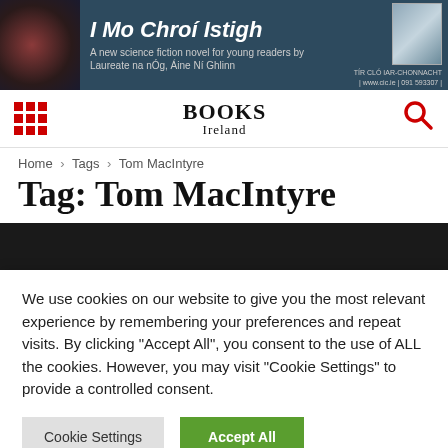[Figure (screenshot): Advertisement banner for 'I Mo Chroí Istigh', a science fiction novel for young readers by Laureate na nÓg, Áine Ní Ghlinn, published by TÍR CLÓ IAR-CHONNACHT]
Books Ireland website navigation header with grid menu icon, Books Ireland logo, and search icon
Home › Tags › Tom MacIntyre
Tag: Tom MacIntyre
[Figure (screenshot): Dark black banner strip below the page title]
We use cookies on our website to give you the most relevant experience by remembering your preferences and repeat visits. By clicking "Accept All", you consent to the use of ALL the cookies. However, you may visit "Cookie Settings" to provide a controlled consent.
Cookie Settings  Accept All